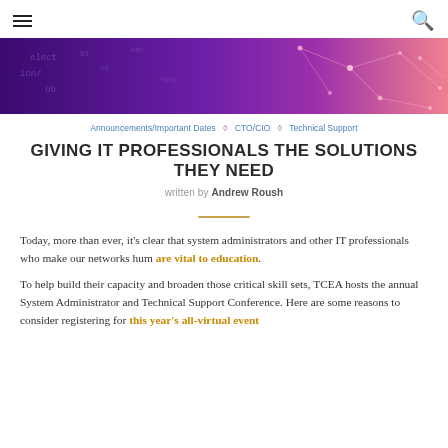☰ [menu icon] | 🔍 [search icon]
[Figure (illustration): Dark purple to pink gradient technology banner with network/code overlay graphics]
Announcements/Important Dates ◇ CTO/CIO ◇ Technical Support
GIVING IT PROFESSIONALS THE SOLUTIONS THEY NEED
written by Andrew Roush
Today, more than ever, it's clear that system administrators and other IT professionals who make our networks hum are vital to education.
To help build their capacity and broaden those critical skill sets, TCEA hosts the annual System Administrator and Technical Support Conference. Here are some reasons to consider registering for this year's all-virtual event